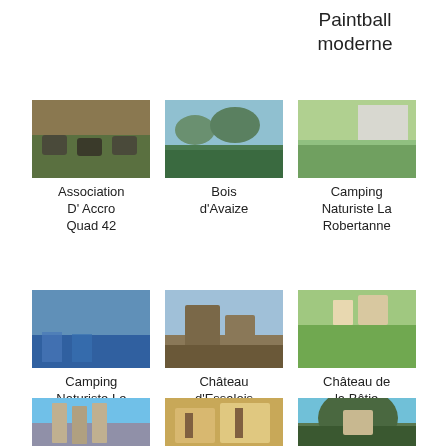Paintball moderne
[Figure (photo): Photo of quad bikes on a dirt road]
Association D' Accro Quad 42
[Figure (photo): Aerial/landscape photo of Bois d'Avaize]
Bois d'Avaize
[Figure (photo): Green field photo of Camping Naturiste La Robertanne]
Camping Naturiste La Robertanne
[Figure (photo): Pool photo of Camping Naturiste Le Dorier]
Camping Naturiste Le Dorier
[Figure (photo): Castle ruins photo of Château d'Essalois]
Château d'Essalois
[Figure (photo): Garden photo of Château de la Bâtie d'Urfé]
Château de la Bâtie d'Urfé
[Figure (photo): Historic building photo (bottom left)]
[Figure (photo): Interior/exhibition photo (bottom center)]
[Figure (photo): Aerial village photo (bottom right)]